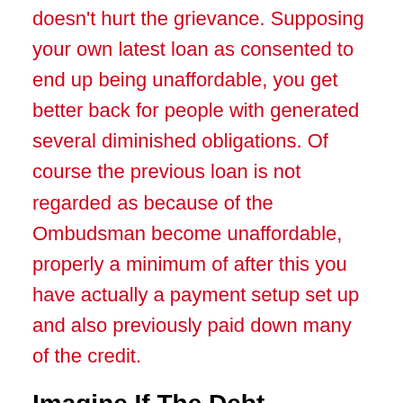doesn't hurt the grievance. Supposing your own latest loan as consented to end up being unaffordable, you get better back for people with generated several diminished obligations. Of course the previous loan is not regarded as because of the Ombudsman become unaffordable, properly a minimum of after this you have actually a payment setup set up and also previously paid down many of the credit.
Imagine If The Debt Collector Start Courtroom Actions
This willn't come! If you've got assured the debt collector regarding the problem but you bring your condition around the financing Ombudsman rapidly, then debt collector shouldn't beginning any trial motions. The regulator's laws state:
CONC 7.14.1: (1) A firm must suspend any ways it only